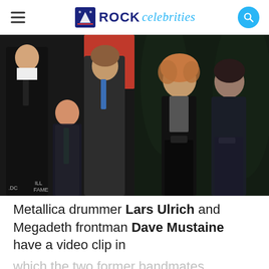ROCK celebrities
[Figure (photo): Split image: left side shows a man in a suit with two boys in formal attire at what appears to be a Hall of Fame event; right side shows two rock musicians posing in dark clothing against a dark background]
Metallica drummer Lars Ulrich and Megadeth frontman Dave Mustaine have a video clip in which the two former bandmates reconnected about their children and at some